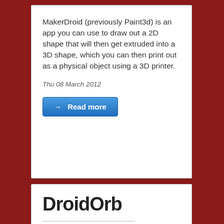MakerDroid (previously Paint3d) is an app you can use to draw out a 2D shape that will then get extruded into a 3D shape, which you can then print out as a physical object using a 3D printer.
Thu 08 March 2012
→ Read more
DroidOrb